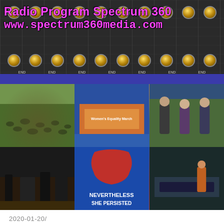[Figure (photo): Radio program mixing board header banner with text 'Radio Program Spectrum 360' and 'www.spectrum360media.com' overlaid in magenta on a dark mixing board background, set on a blue background.]
[Figure (photo): Grid of six photos from Women's March events: crowd at rally, women's march banner on stage, women speakers, band performing, 'Nevertheless She Persisted' sign, and an information booth.]
2020-01-20/
A. Radio Program- Webcast: Spectrum 360- 20.03- '20 Jan. 20